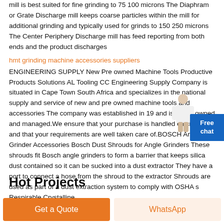mill is best suited for fine grinding to 75 100 microns The Diaphram or Grate Discharge mill keeps coarse particles within the mill for additional grinding and typically used for grinds to 150 250 microns The Center Periphery Discharge mill has feed reporting from both ends and the product discharges
hmt grinding machine accessories suppliers
ENGINEERING SUPPLY New Pre owned Machine Tools Productive Products Solutions AL Tooling CC Engineering Supply Company is situated in Cape Town South Africa and specializes in the national supply and service of new and pre owned machine tools and accessories The company was established in 19 and is family owned and managed.We ensure that your purchase is handled efficiently and that your requirements are well taken care of.BOSCH Angle Grinder Accessories Bosch Dust Shrouds for Angle Grinders These shrouds fit Bosch angle grinders to form a barrier that keeps silica dust contained so it can be sucked into a dust extractor They have a port to connect a hose from the shroud to the extractor Shrouds are used as part of a dust extraction system to comply with OSHA s Respirable Crystalline
Hot Projects
Get a Quote
WhatsApp